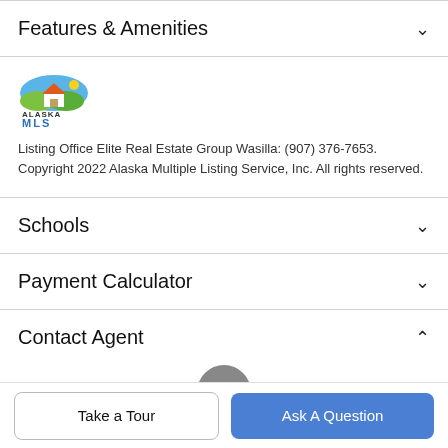Features & Amenities
[Figure (logo): Alaska MLS logo — house icon with blue/green colors, text reading ALASKA MLS]
Listing Office Elite Real Estate Group Wasilla: (907) 376-7653. Copyright 2022 Alaska Multiple Listing Service, Inc. All rights reserved.
Schools
Payment Calculator
Contact Agent